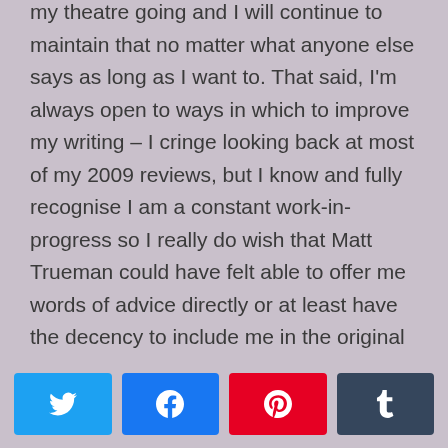my theatre going and I will continue to maintain that no matter what anyone else says as long as I want to. That said, I'm always open to ways in which to improve my writing – I cringe looking back at most of my 2009 reviews, but I know and fully recognise I am a constant work-in-progress so I really do wish that Matt Trueman could have felt able to offer me words of advice directly or at least have the decency to include me in the original discussion if he felt it was something important enough to discuss so publicly.

Social media offers a great opportunity for the sharing of advice, constructive criticism and the
[Figure (other): Social media share buttons bar with Twitter (blue), Facebook (blue), Pinterest (red), and Tumblr (dark grey) buttons]